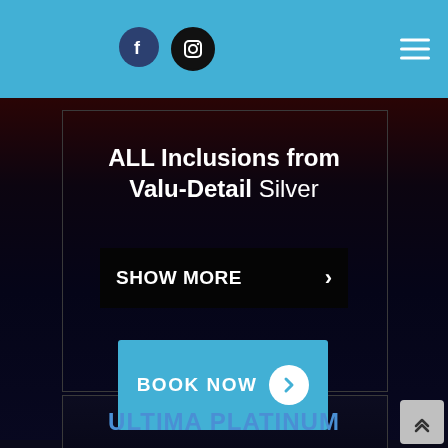Navigation bar with Facebook and Instagram icons, hamburger menu
ALL Inclusions from Valu-Detail Silver
SHOW MORE
BOOK NOW
ULTIMA PLATINUM